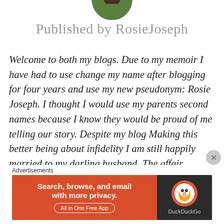[Figure (photo): Circular profile photo cropped at top showing a person outdoors with green background]
Published by RosieJoseph
Welcome to both my blogs. Due to my memoir I have had to use change my name after blogging for four years and use my new pseudonym: Rosie Joseph. I thought I would use my parents second names because I know they would be proud of me telling our story. Despite my blog Making this better being about infidelity I am still happily married to my darling husband. The affair happening in our lives encouraged to visit France and we moved to France in 2015 after an eight year love affair with it every
Advertisements
[Figure (screenshot): DuckDuckGo advertisement banner: orange left panel reading 'Search, browse, and email with more privacy. All in One Free App' with dark right panel showing DuckDuckGo duck logo and brand name]